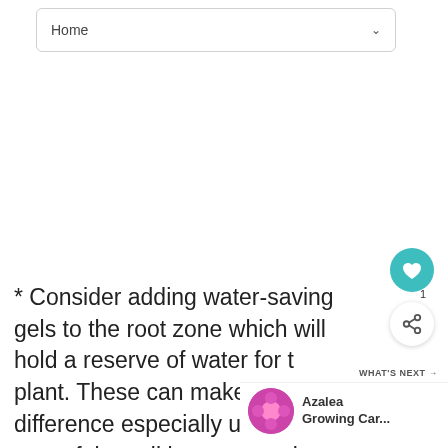Home
* Consider adding water-saving gels to the root zone which will hold a reserve of water for the plant. These can make a world of difference especially under stressful conditions be certain to follow label directions for their use.